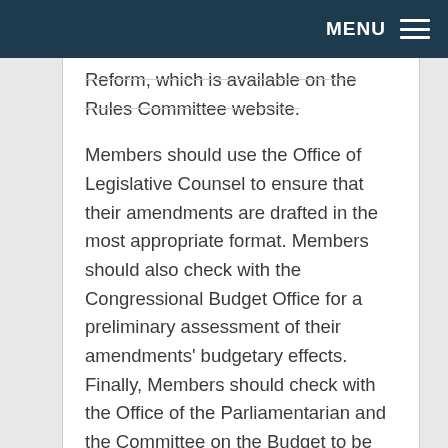MENU
Reform, which is available on the Rules Committee website.
Members should use the Office of Legislative Counsel to ensure that their amendments are drafted in the most appropriate format. Members should also check with the Congressional Budget Office for a preliminary assessment of their amendments' budgetary effects. Finally, Members should check with the Office of the Parliamentarian and the Committee on the Budget to be certain their amendments comply with the rules of the House and the Congressional